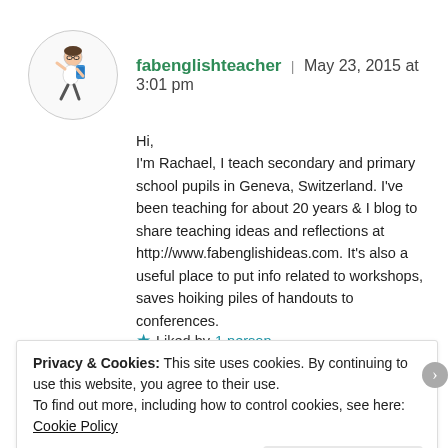[Figure (illustration): Avatar of a cartoon person with backpack running, inside a circle border]
fabenglishteacher | May 23, 2015 at 3:01 pm
Hi,
I'm Rachael, I teach secondary and primary school pupils in Geneva, Switzerland. I've been teaching for about 20 years & I blog to share teaching ideas and reflections at http://www.fabenglishideas.com. It's also a useful place to put info related to workshops, saves hoiking piles of handouts to conferences.
★ Liked by 1 person
Privacy & Cookies: This site uses cookies. By continuing to use this website, you agree to their use.
To find out more, including how to control cookies, see here: Cookie Policy
Close and accept